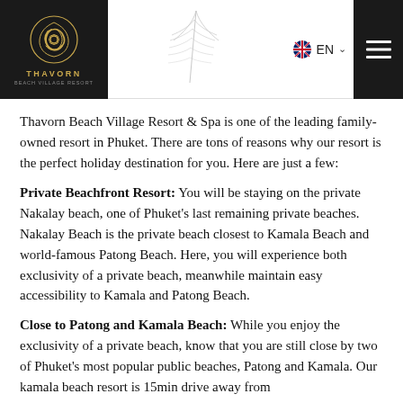Thavorn Beach Village Resort & Spa — EN
Thavorn Beach Village Resort & Spa is one of the leading family-owned resort in Phuket. There are tons of reasons why our resort is the perfect holiday destination for you. Here are just a few:
Private Beachfront Resort: You will be staying on the private Nakalay beach, one of Phuket's last remaining private beaches. Nakalay Beach is the private beach closest to Kamala Beach and world-famous Patong Beach. Here, you will experience both exclusivity of a private beach, meanwhile maintain easy accessibility to Kamala and Patong Beach.
Close to Patong and Kamala Beach: While you enjoy the exclusivity of a private beach, know that you are still close by two of Phuket's most popular public beaches, Patong and Kamala. Our kamala beach resort is 15min drive away from